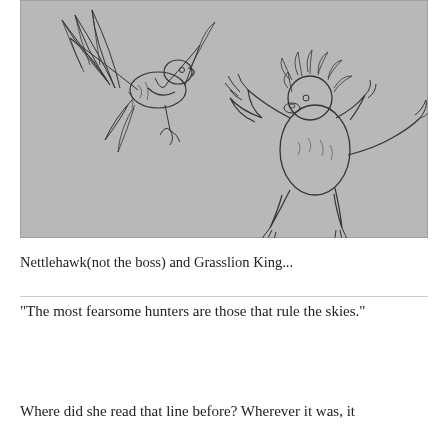[Figure (illustration): Pencil sketch illustration on gray background showing two fantasy creatures: a large bird-like creature (Nettlehawk) on the left with wings spread, and a lion-like beast (Grasslion King) on the right rearing up on hind legs with claws raised.]
Nettlehawk(not the boss) and Grasslion King...
“The most fearsome hunters are those that rule the skies.”
Where did she read that line before? Wherever it was, it